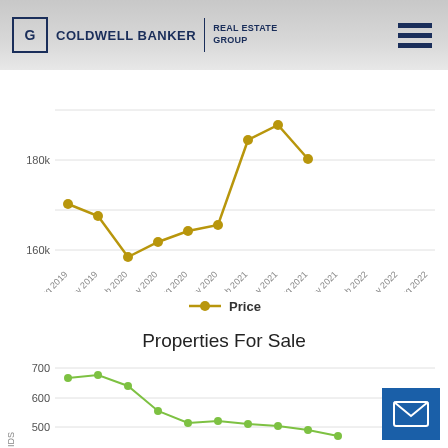[Figure (logo): Coldwell Banker Real Estate Group logo with hamburger menu icon]
[Figure (line-chart): Price]
Price
Properties For Sale
[Figure (line-chart): Properties For Sale]